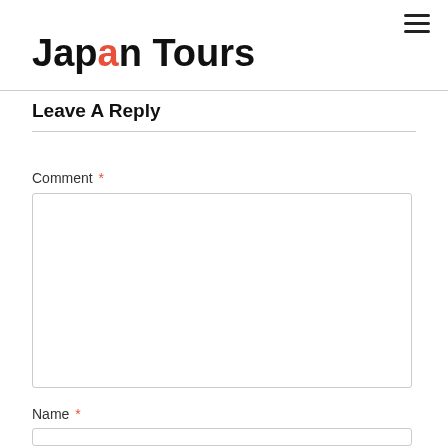Japan Tours
Leave A Reply
Comment *
Name *